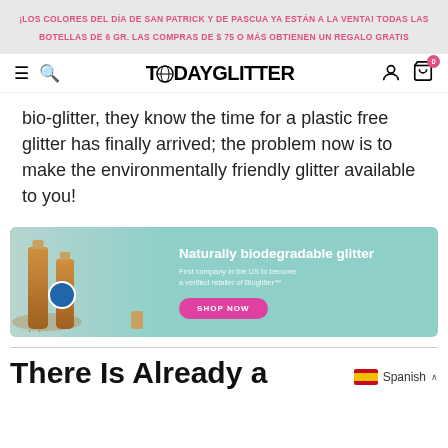¡LOS COLORES DEL DÍA DE SAN PATRICK Y DE PASCUA YA ESTÁN A LA VENTA! TODAS LAS BOTELLAS DE 6 GR. LAS COMPRAS DE $ 75 O MÁS OBTIENEN UN REGALO GRATIS
TODAYGLITTER
bio-glitter, they know the time for a plastic free glitter has finally arrived; the problem now is to make the environmentally friendly glitter available to you!
[Figure (photo): Advertisement banner for Today Glitter showing copper/gold glitter bottles on teal background with text 'Naturally biodegradable glitter' and 'First company in the US to become a verified retailer of Bioglitter™' and a pink 'SHOP NOW' button]
There Is Already a